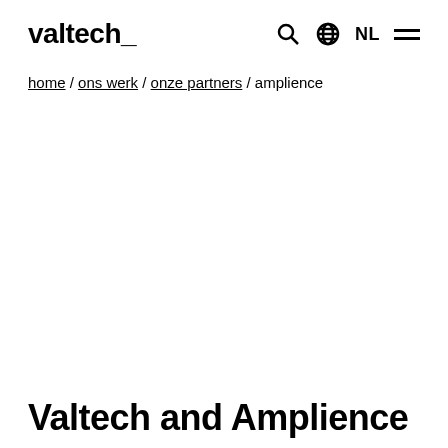valtech_ [search] [globe] NL [menu]
home / ons werk / onze partners / amplience
Valtech and Amplience